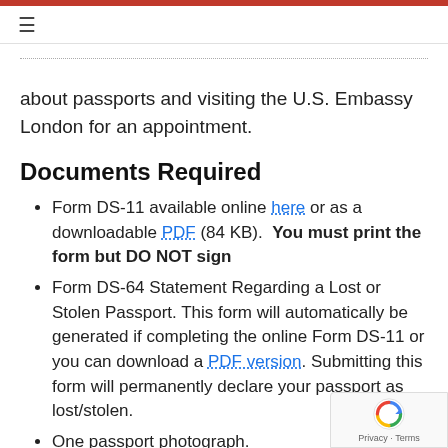≡
about passports and visiting the U.S. Embassy London for an appointment.
Documents Required
Form DS-11 available online here or as a downloadable PDF (84 KB).  You must print the form but DO NOT sign
Form DS-64 Statement Regarding a Lost or Stolen Passport. This form will automatically be generated if completing the online Form DS-11 or you can download a PDF version. Submitting this form will permanently declare your passport as lost/stolen.
One passport photograph.
Non-refundable application fee.
Evidence of U.S. citizenship – such evidence may